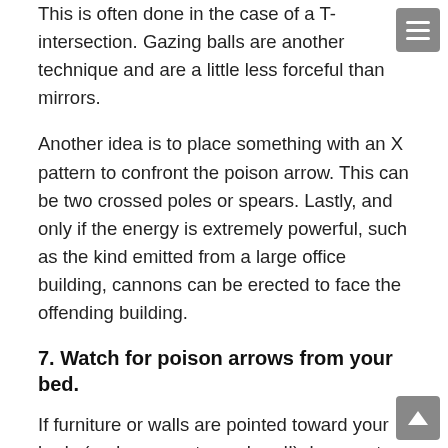This is often done in the case of a T-intersection. Gazing balls are another technique and are a little less forceful than mirrors.
Another idea is to place something with an X pattern to confront the poison arrow. This can be two crossed poles or spears. Lastly, and only if the energy is extremely powerful, such as the kind emitted from a large office building, cannons can be erected to face the offending building.
7. Watch for poison arrows from your bed.
If furniture or walls are pointed toward your body (and worse, at your head!), be sure to put something to block the poison arrow. This often occurs with bedside tables that have square tops. That's why round bedside tables are better. There is no sharp point close to your head. If there is a wall with a sharp point toward your head, never...